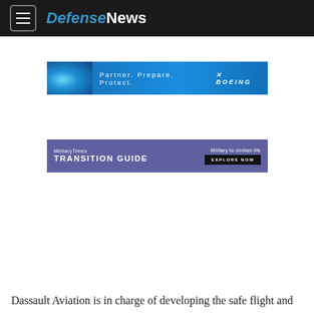DefenseNews
[Figure (infographic): Boeing advertisement banner: blue gradient background with globe imagery on left, text 'Partner. Prepare. Protect.' and Boeing logo on right]
[Figure (infographic): MilitaryTimes Transition Guide advertisement: purple background, 'MilitaryTimes' brand name, 'TRANSITION GUIDE' large text, 'Military to civilian life' subtitle, 'EXPLORE NOW' button]
Dassault Aviation is in charge of developing the safe flight and